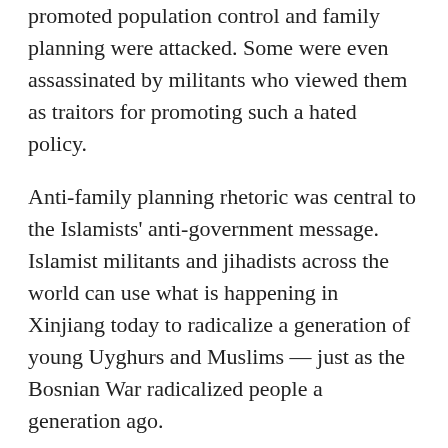promoted population control and family planning were attacked. Some were even assassinated by militants who viewed them as traitors for promoting such a hated policy.
Anti-family planning rhetoric was central to the Islamists' anti-government message. Islamist militants and jihadists across the world can use what is happening in Xinjiang today to radicalize a generation of young Uyghurs and Muslims — just as the Bosnian War radicalized people a generation ago.
But Uyghurs are not the only Chinese citizens who rioted against the population control policy. Han Chinese did too — as recently as 2007.
2007 Bobai riots
Bobai, in the southwestern region of Guangxi, China, is an